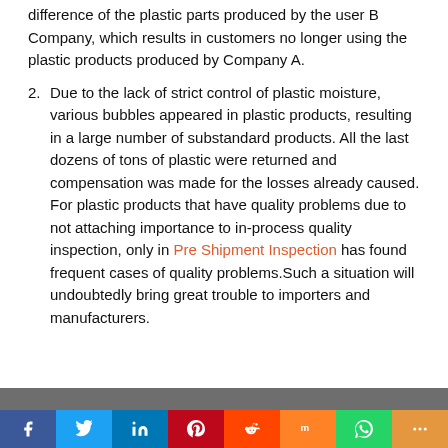difference of the plastic parts produced by the user B Company, which results in customers no longer using the plastic products produced by Company A.
2. Due to the lack of strict control of plastic moisture, various bubbles appeared in plastic products, resulting in a large number of substandard products. All the last dozens of tons of plastic were returned and compensation was made for the losses already caused.
For plastic products that have quality problems due to not attaching importance to in-process quality inspection, only in Pre Shipment Inspection has found frequent cases of quality problems.Such a situation will undoubtedly bring great trouble to importers and manufacturers.
[Figure (photo): Partial view of a photo strip at the bottom of the content area]
[Figure (infographic): Social media sharing bar with buttons: Facebook, Twitter, LinkedIn, Pinterest, Reddit, Mix, WhatsApp, More]